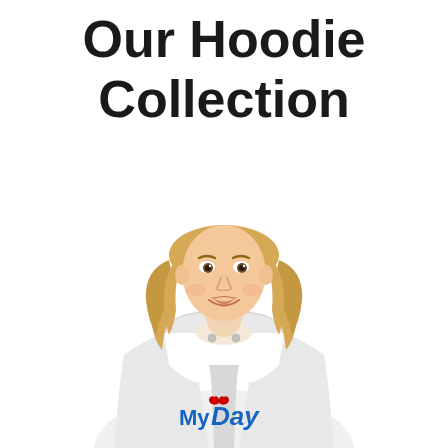Our Hoodie Collection
[Figure (photo): A smiling blonde woman wearing a white hoodie with the 'MyDay' logo printed on it in blue text with a red heart above. The model is shown from the waist up against a white background.]